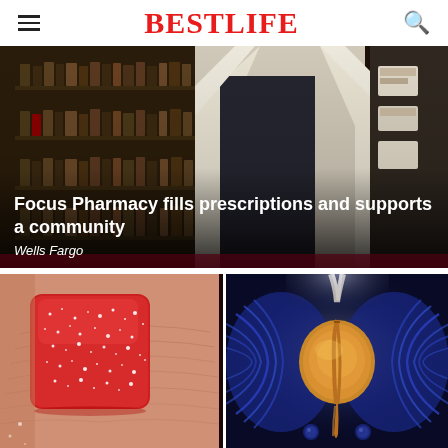BestLife
[Figure (photo): Pharmacist in white lab coat standing in front of pharmacy shelves stocked with medicine bottles, with overlay text about Focus Pharmacy]
Focus Pharmacy fills prescriptions and supports a community
Wells Fargo
[Figure (photo): Close-up of a red sugar-coated gummy candy on a fingertip]
[Figure (illustration): Medical illustration of the prostate gland anatomy on a dark blue background]